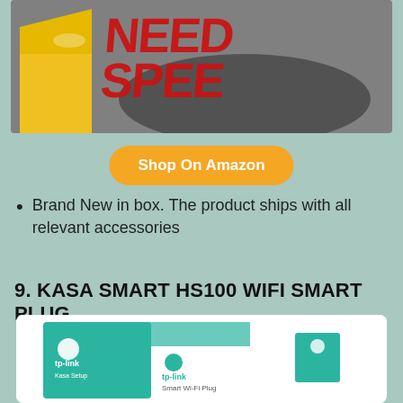[Figure (photo): Need for Speed game box art photo showing the logo with yellow car]
Shop On Amazon
Brand New in box. The product ships with all relevant accessories
9. KASA SMART HS100 WIFI SMART PLUG
[Figure (photo): TP-Link Kasa Smart Wi-Fi Plug HS100 product box photo]